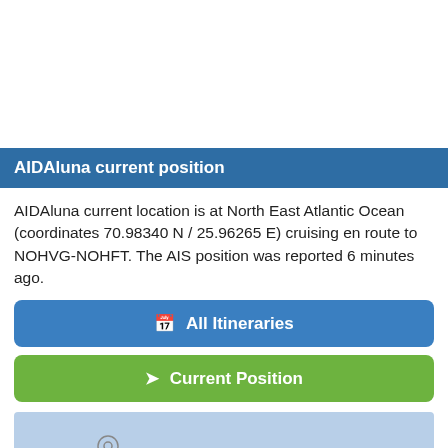AIDAluna current position
AIDAluna current location is at North East Atlantic Ocean (coordinates 70.98340 N / 25.96265 E) cruising en route to NOHVG-NOHFT. The AIS position was reported 6 minutes ago.
All Itineraries
Current Position
[Figure (map): Light blue map area with a circular marker indicating the ship's current position in the North East Atlantic Ocean.]